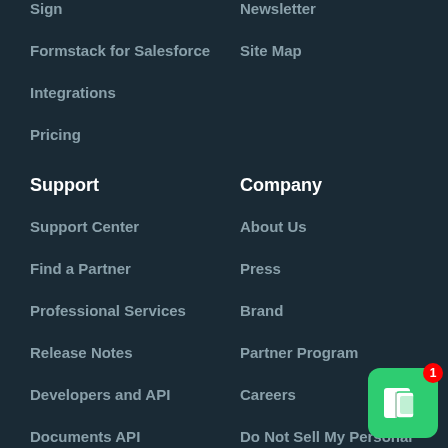Sign
Formstack for Salesforce
Integrations
Pricing
Newsletter
Site Map
Support
Company
Support Center
Find a Partner
Professional Services
Release Notes
Developers and API
Documents API
System Status
Report Abuse
Contact Us
About Us
Press
Brand
Partner Program
Careers
Do Not Sell My Personal Information
[Figure (logo): Formstack green badge icon with notification badge showing number 1]